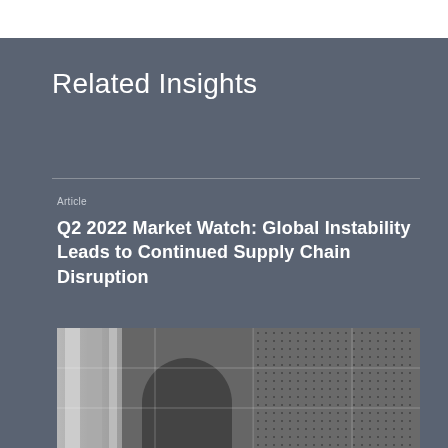Related Insights
Article
Q2 2022 Market Watch: Global Instability Leads to Continued Supply Chain Disruption
[Figure (photo): Black and white photograph of a building or structure with columns, overlaid with a grid pattern and dotted texture.]